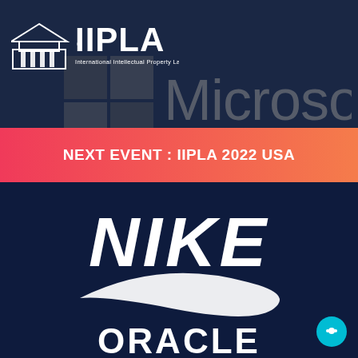[Figure (logo): IIPLA logo - International Intellectual Property Law Association, white logo on dark navy background]
[Figure (logo): Microsoft logo - greyed out, partially visible on dark navy background]
NEXT EVENT : IIPLA 2022 USA
[Figure (logo): Nike logo - white Nike wordmark and swoosh on dark navy background]
[Figure (logo): Oracle logo - white ORACLE wordmark partially visible at bottom on dark navy background]